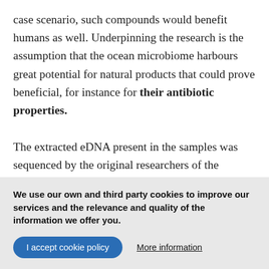case scenario, such compounds would benefit humans as well. Underpinning the research is the assumption that the ocean microbiome harbours great potential for natural products that could prove beneficial, for instance for their antibiotic properties.

The extracted eDNA present in the samples was sequenced by the original researchers of the various expeditions. By reconstructing entire genomes on the computer, the scientists succeeded in decrypting the encoded information -- the blueprints for proteins. Finally,
We use our own and third party cookies to improve our services and the relevance and quality of the information we offer you.
I accept cookie policy
More information